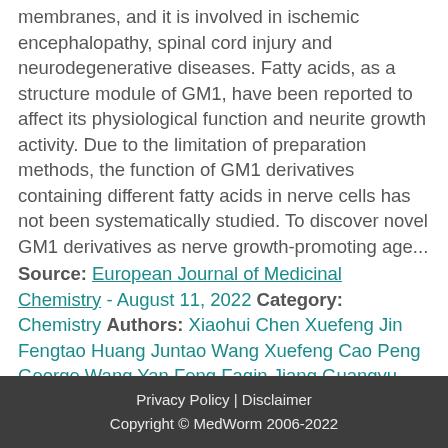membranes, and it is involved in ischemic encephalopathy, spinal cord injury and neurodegenerative diseases. Fatty acids, as a structure module of GM1, have been reported to affect its physiological function and neurite growth activity. Due to the limitation of preparation methods, the function of GM1 derivatives containing different fatty acids in nerve cells has not been systematically studied. To discover novel GM1 derivatives as nerve growth-promoting age...
Source: European Journal of Medicinal Chemistry - August 11, 2022 Category: Chemistry Authors: Xiaohui Chen Xuefeng Jin Fengtao Huang Juntao Wang Xuefeng Cao Peng George Wang Yan Feng Faqin Jiang Guangyu Yang Source Type: research
Privacy Policy | Disclaimer
Copyright © MedWorm 2006-2022